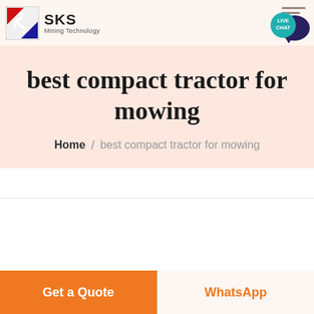[Figure (logo): SKS Mining Technology logo with red and blue angular icon and text 'SKS Mining Technology']
[Figure (other): Live chat bubble widget with teal background and white text 'LIVE CHAT' with speech bubble icon, and three hamburger menu lines]
best compact tractor for mowing
Home / best compact tractor for mowing
Get a Quote
WhatsApp